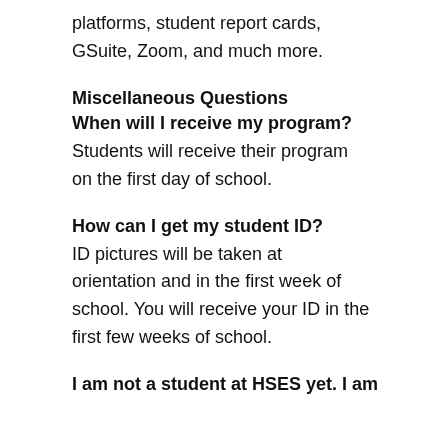platforms, student report cards, GSuite, Zoom, and much more.
Miscellaneous Questions
When will I receive my program?
Students will receive their program on the first day of school.
How can I get my student ID?
ID pictures will be taken at orientation and in the first week of school. You will receive your ID in the first few weeks of school.
I am not a student at HSES yet. I am